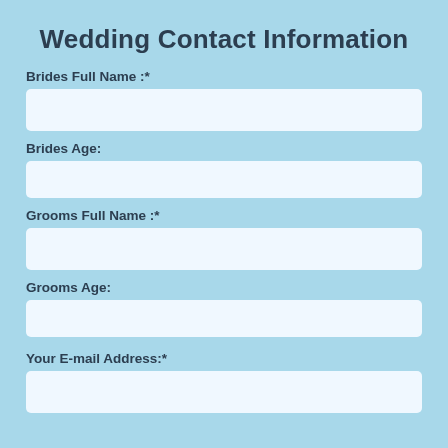Wedding Contact Information
Brides Full Name :*
Brides Age:
Grooms Full Name :*
Grooms Age:
Your E-mail Address:*